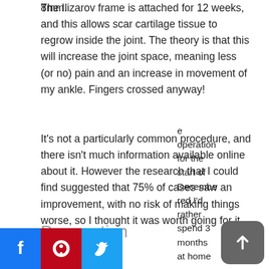8mm.
The Ilizarov frame is attached for 12 weeks, and this allows scar cartilage tissue to regrow inside the joint. The theory is that this will increase the joint space, meaning less (or no) pain and an increase in movement of my ankle. Fingers crossed anyway!
It's not a particularly common procedure, and there isn't much information available online about it. However the research that I could find suggested that 75% of cases saw an improvement, with no risk of making things worse, so I thought it was worth going for it.
Preparation
e operation for the start of December
red I'd rather spend 3 months at home